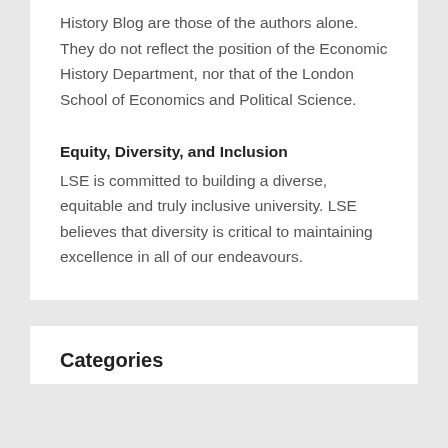History Blog are those of the authors alone. They do not reflect the position of the Economic History Department, nor that of the London School of Economics and Political Science.
Equity, Diversity, and Inclusion
LSE is committed to building a diverse, equitable and truly inclusive university. LSE believes that diversity is critical to maintaining excellence in all of our endeavours.
Categories